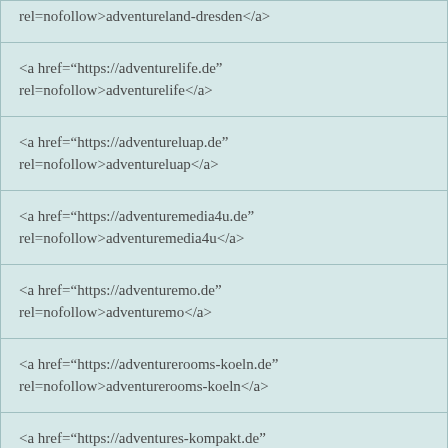rel=nofollow>adventureland-dresden</a>
<a href="https://adventurelife.de" rel=nofollow>adventurelife</a>
<a href="https://adventureluap.de" rel=nofollow>adventureluap</a>
<a href="https://adventuremedia4u.de" rel=nofollow>adventuremedia4u</a>
<a href="https://adventuremo.de" rel=nofollow>adventuremo</a>
<a href="https://adventurerooms-koeln.de" rel=nofollow>adventurerooms-koeln</a>
<a href="https://adventures-kompakt.de" rel=nofollow>adventures-kompakt</a>